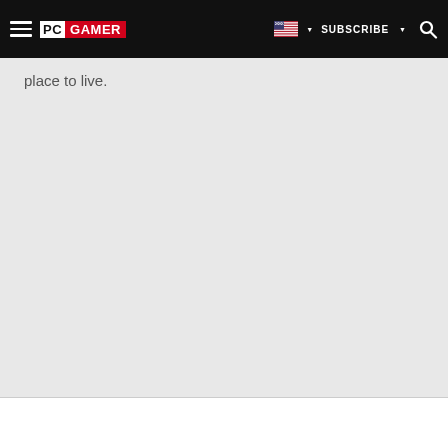PC GAMER | SUBSCRIBE
place to live.